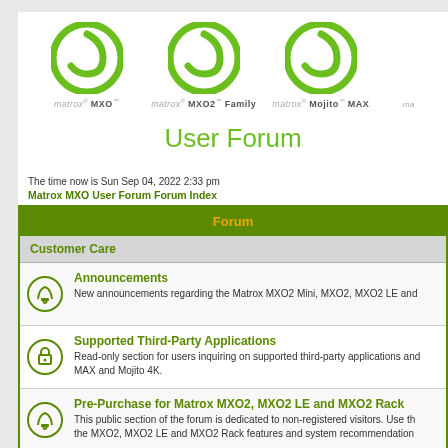[Figure (logo): Three Matrox product logos in a row: Matrox MXO, Matrox MXO2 Family, Matrox Mojito MAX, each with green circular swirl icon]
User Forum
The time now is Sun Sep 04, 2022 2:33 pm
Matrox MXO User Forum Forum Index
| Forum |
| --- |
| Customer Care |
| Announcements | New announcements regarding the Matrox MXO2 Mini, MXO2, MXO2 LE and |
| Supported Third-Party Applications | Read-only section for users inquiring on supported third-party applications and MAX and Mojito 4K. |
| Pre-Purchase for Matrox MXO2, MXO2 LE and MXO2 Rack | This public section of the forum is dedicated to non-registered visitors. Use the the MXO2, MXO2 LE and MXO2 Rack features and system recommendation |